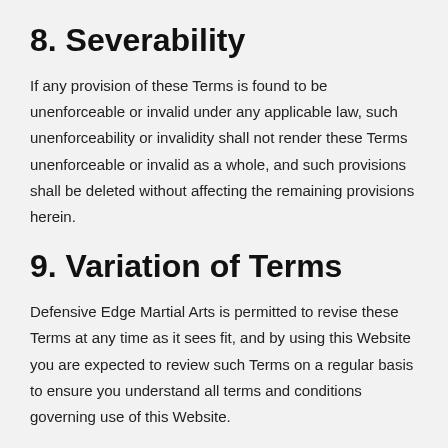8. Severability
If any provision of these Terms is found to be unenforceable or invalid under any applicable law, such unenforceability or invalidity shall not render these Terms unenforceable or invalid as a whole, and such provisions shall be deleted without affecting the remaining provisions herein.
9. Variation of Terms
Defensive Edge Martial Arts is permitted to revise these Terms at any time as it sees fit, and by using this Website you are expected to review such Terms on a regular basis to ensure you understand all terms and conditions governing use of this Website.